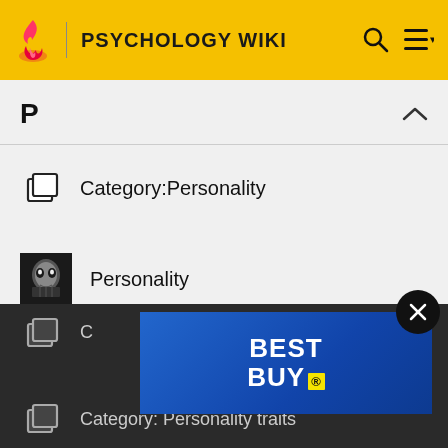PSYCHOLOGY WIKI
P
Category:Personality
Personality
Category:Personality development
Personality development
Personality pathology
[Figure (screenshot): Best Buy advertisement banner — blue gradient with white bold text reading BEST BUY with yellow price tag icon]
Category: [partially visible]
Category: Personality traits [partially visible]